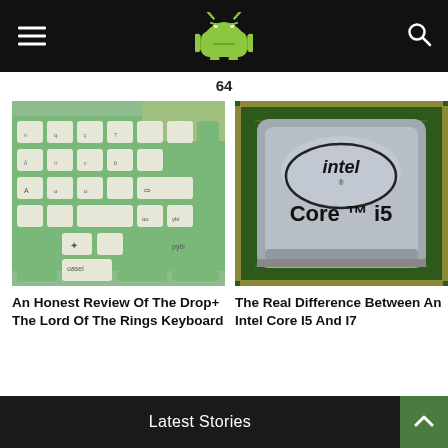Android Authority header with logo, menu, and search icons
64
[Figure (photo): Close-up of a green and white mechanical keyboard with Elvish script keycaps (Lord of the Rings themed)]
An Honest Review Of The Drop+ The Lord Of The Rings Keyboard
[Figure (photo): Intel Core i5 processor chip, silver metallic surface with Intel Core i5 branding]
The Real Difference Between An Intel Core I5 And I7
Latest Stories